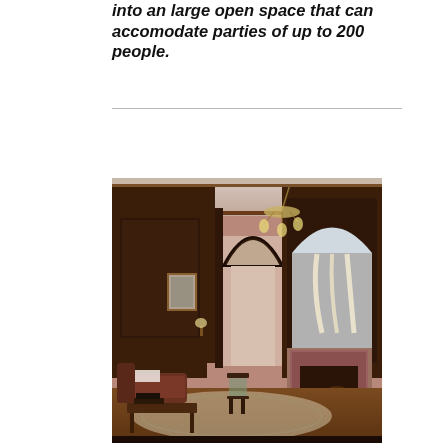into an large open space that can accomodate parties of up to 200 people.
[Figure (photo): Interior of a Victorian-style room featuring dark wood paneling, an ornate arched doorway with decorative carved details, a chandelier, a fireplace with mosaic tile surround and mantel displaying large ivory tusks and sculptures, antique furniture including a sofa and side chair, hardwood floors with a patterned rug, and wall sconces.]